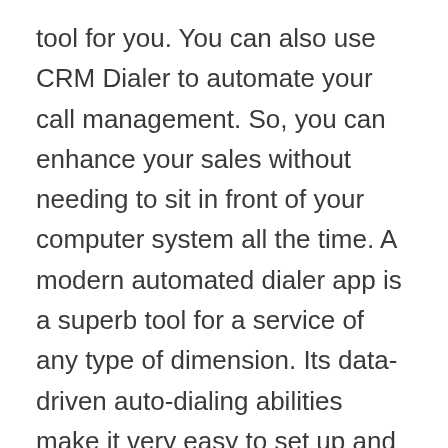tool for you. You can also use CRM Dialer to automate your call management. So, you can enhance your sales without needing to sit in front of your computer system all the time. A modern automated dialer app is a superb tool for a service of any type of dimension. Its data-driven auto-dialing abilities make it very easy to set up and make use of. You can arrange your leads in checklists, phone call details segments, and also ahead inbound calls to one more representative. Other beneficial attributes consist of the capacity to mass-text and also SMS auto-responders, as well as mass texting for business. You can also develop a personalized e-mail list to send to your